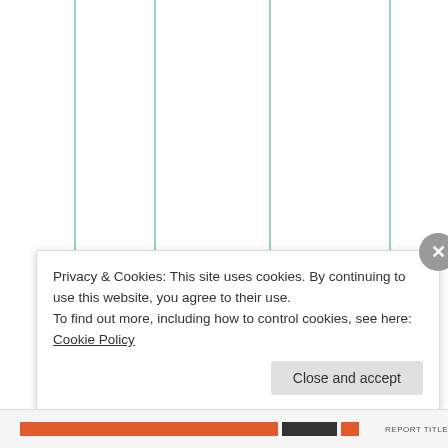[Figure (other): Partial view of a webpage showing vertical teal/green lines forming a table or chart grid, with large rotated text spelling 'kaboutyour' visible on the right side, partially cropped.]
Privacy & Cookies: This site uses cookies. By continuing to use this website, you agree to their use.
To find out more, including how to control cookies, see here: Cookie Policy
Close and accept
REPORT TITLE